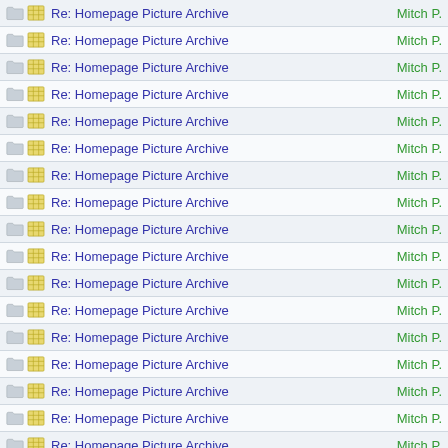Re: Homepage Picture Archive — Mitch P.
Re: Homepage Picture Archive — Mitch P.
Re: Homepage Picture Archive — Mitch P.
Re: Homepage Picture Archive — Mitch P.
Re: Homepage Picture Archive — Mitch P.
Re: Homepage Picture Archive — Mitch P.
Re: Homepage Picture Archive — Mitch P.
Re: Homepage Picture Archive — Mitch P.
Re: Homepage Picture Archive — Mitch P.
Re: Homepage Picture Archive — Mitch P.
Re: Homepage Picture Archive — Mitch P.
Re: Homepage Picture Archive — Mitch P.
Re: Homepage Picture Archive — Mitch P.
Re: Homepage Picture Archive — Mitch P.
Re: Homepage Picture Archive — Mitch P.
Re: Homepage Picture Archive — Mitch P.
Re: Homepage Picture Archive — Mitch P.